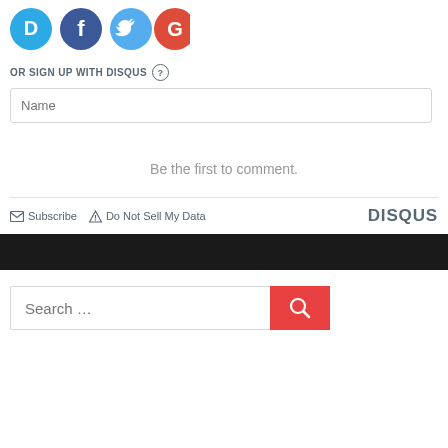[Figure (logo): Social login icons: Disqus (blue speech bubble with D), Facebook (blue circle with f), Twitter (light blue circle with bird), Google (red circle with G)]
OR SIGN UP WITH DISQUS ?
Name
Be the first to comment.
Subscribe  Do Not Sell My Data  DISQUS
Search ...